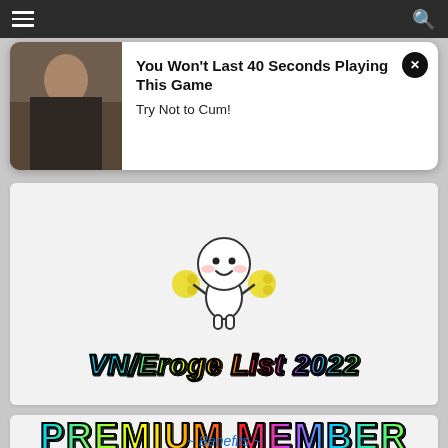Navigation bar with hamburger menu and search icon
[Figure (other): Advertisement popup showing an image of people on the left and text 'You Won't Last 40 Seconds Playing This Game - Try Not to Cum!' on the right with a close button]
[Figure (illustration): Cute white cartoon mascot character holding yellow pom-poms with pink cheeks and a smile]
VN/Eroge List 2022
PREMIUM MEMBER
~ Benefits ~